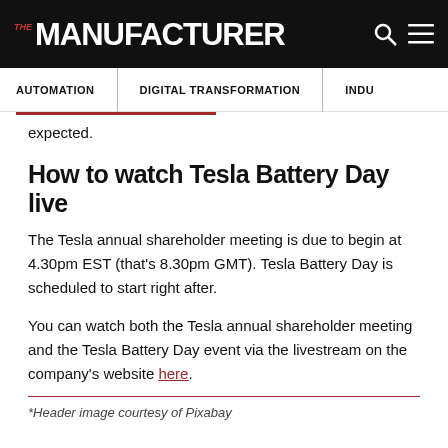THE MANUFACTURER
AUTOMATION | DIGITAL TRANSFORMATION | INDU…
expected.
How to watch Tesla Battery Day live
The Tesla annual shareholder meeting is due to begin at 4.30pm EST (that's 8.30pm GMT). Tesla Battery Day is scheduled to start right after.
You can watch both the Tesla annual shareholder meeting and the Tesla Battery Day event via the livestream on the company's website here.
*Header image courtesy of Pixabay